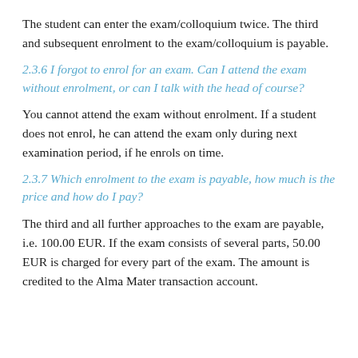The student can enter the exam/colloquium twice. The third and subsequent enrolment to the exam/colloquium is payable.
2.3.6 I forgot to enrol for an exam. Can I attend the exam without enrolment, or can I talk with the head of course?
You cannot attend the exam without enrolment. If a student does not enrol, he can attend the exam only during next examination period, if he enrols on time.
2.3.7 Which enrolment to the exam is payable, how much is the price and how do I pay?
The third and all further approaches to the exam are payable, i.e. 100.00 EUR. If the exam consists of several parts, 50.00 EUR is charged for every part of the exam. The amount is credited to the Alma Mater transaction account.